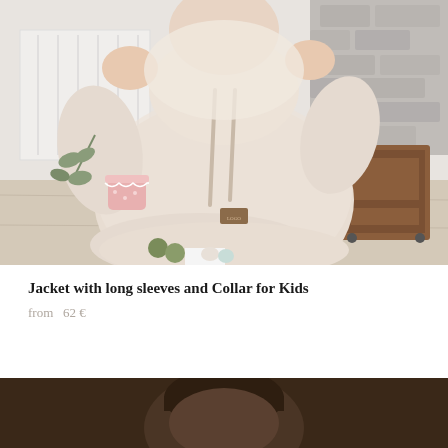[Figure (photo): A child wearing a fluffy knitted beige/cream jacket with collar and a rope tie, standing at a table with decorative items including eucalyptus, a pink flower pot, felt balls, and a small wooden toy shelf in the background against a white wall.]
Jacket with long sleeves and Collar for Kids
from  62 €
[Figure (photo): Partial photo of a child wearing a dark knitted garment, photographed against a dark brown background.]